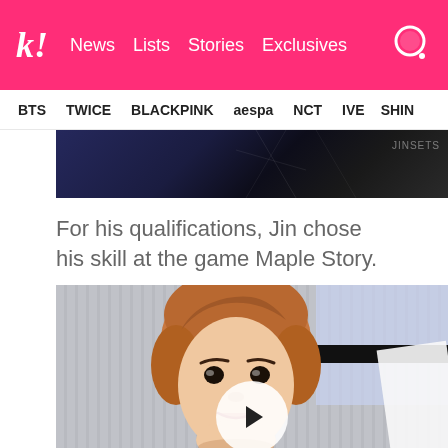k! News Lists Stories Exclusives
BTS TWICE BLACKPINK aespa NCT IVE SHIN
[Figure (photo): Dark banner image at top of article, partially visible]
For his qualifications, Jin chose his skill at the game Maple Story.
[Figure (photo): Photo of Jin (BTS member) with auburn/orange-brown hair, wearing white, smiling slightly. Video play button overlay visible in foreground.]